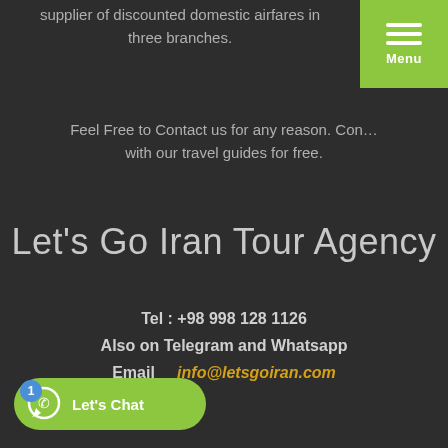supplier of discounted domestic airfares in three branches.
[Figure (other): Green hamburger menu button with three white horizontal lines and 'Menu' label]
Feel Free to Contact us for any reason. Con... with our travel guides for free.
Let's Go Iran Tour Agency
Tel  :  +98 998 128 1126
Also on Telegram and Whatsapp
Email     info@letsgoiran.com
[Figure (other): Green WhatsApp-style chat button with phone icon, badge showing '1', and text 'Let's Chat']